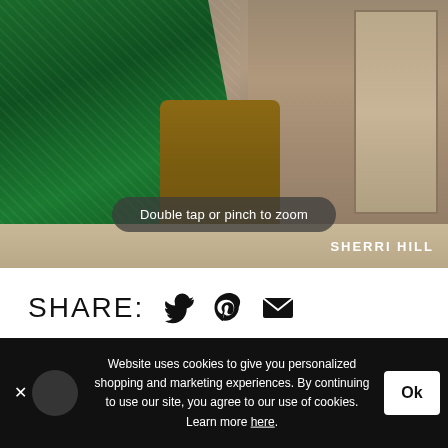[Figure (photo): Fashion photo showing bottom half of model wearing a long sparkly green dress and silver strappy heels, standing on stone steps in front of weathered wooden doors. Watermark reads SHERRI HILL. Overlay pill reads 'Double tap or pinch to zoom'.]
SHARE:
SHERRI HILL
Website uses cookies to give you personalized shopping and marketing experiences. By continuing to use our site, you agree to our use of cookies. Learn more here.